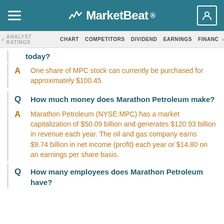MarketBeat
ANALYST RATINGS  CHART  COMPETITORS  DIVIDEND  EARNINGS  FINANCIALS
today?
A  One share of MPC stock can currently be purchased for approximately $100.45.
Q  How much money does Marathon Petroleum make?
A  Marathon Petroleum (NYSE:MPC) has a market capitalization of $50.09 billion and generates $120.93 billion in revenue each year. The oil and gas company earns $9.74 billion in net income (profit) each year or $14.80 on an earnings per share basis.
Q  How many employees does Marathon Petroleum have?